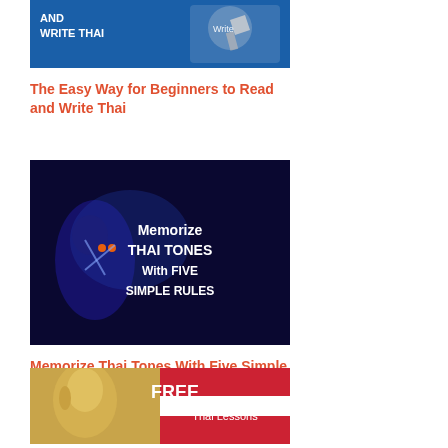[Figure (illustration): Book cover/banner for 'The Easy Way for Beginners to Read and Write Thai' on blue background with pen icon]
The Easy Way for Beginners to Read and Write Thai
[Figure (illustration): Dark blue concert/musician image with overlay text: Memorize THAI TONES With FIVE SIMPLE RULES]
Memorize Thai Tones With Five Simple Rules
[Figure (illustration): Golden Buddha statue with Thai flag background and text: FREE Thai Lessons]